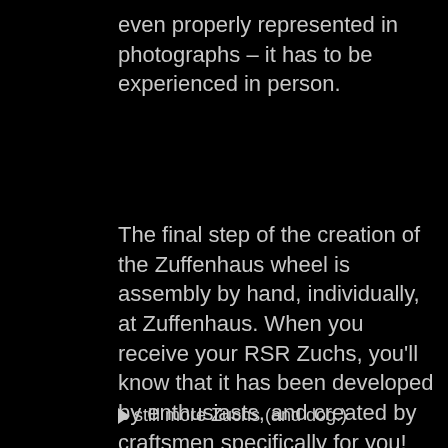even properly represented in photographs – it has to be experienced in person.
The final step of the creation of the Zuffenhaus wheel is assembly by hand, individually, at Zuffenhaus. When you receive your RSR Zuchs, you'll know that it has been developed by enthusiasts, and created by craftsmen specifically for you!
still more Zuchs (and dog.)